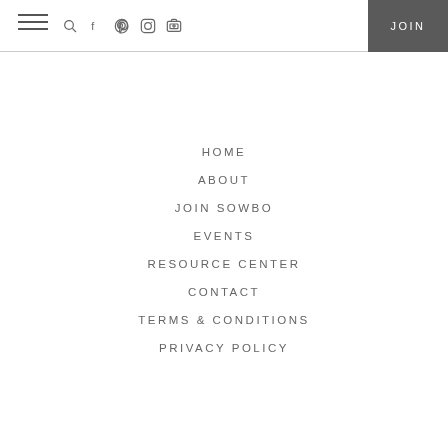Navigation header with hamburger menu, icons (search, facebook, pinterest, instagram, youtube), and JOIN button
HOME
ABOUT
JOIN SOWBO
EVENTS
RESOURCE CENTER
CONTACT
TERMS & CONDITIONS
PRIVACY POLICY